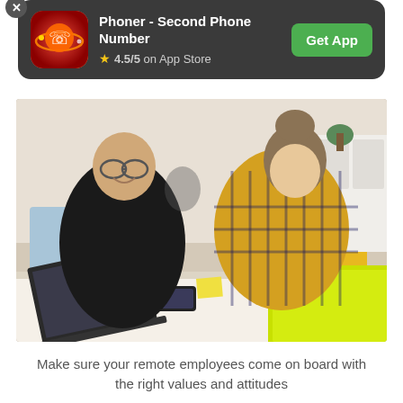[Figure (screenshot): App advertisement banner for 'Phoner - Second Phone Number' on a dark rounded rectangle background, showing app icon, name, 4.5/5 App Store rating, and a green 'Get App' button. A close (X) button appears at top-left.]
[Figure (photo): Photo of two office workers at a table with laptops. A man in a black shirt smiling and a woman in a yellow plaid shirt leaning over a yellow laptop.]
Make sure your remote employees come on board with the right values and attitudes